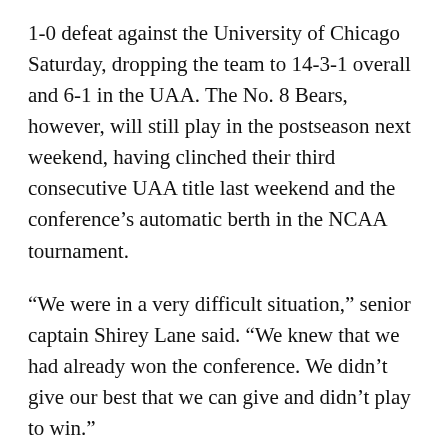1-0 defeat against the University of Chicago Saturday, dropping the team to 14-3-1 overall and 6-1 in the UAA. The No. 8 Bears, however, will still play in the postseason next weekend, having clinched their third consecutive UAA title last weekend and the conference’s automatic berth in the NCAA tournament.
“We were in a very difficult situation,” senior captain Shirey Lane said. “We knew that we had already won the conference. We didn’t give our best that we can give and didn’t play to win.”
“We put together a good game. They capitalized on an opportunity. We had some early opportunities that we couldn’t capitalize on. Maybe the refs had one or two slightly off calls,” Head Coach Jim Conlon said.